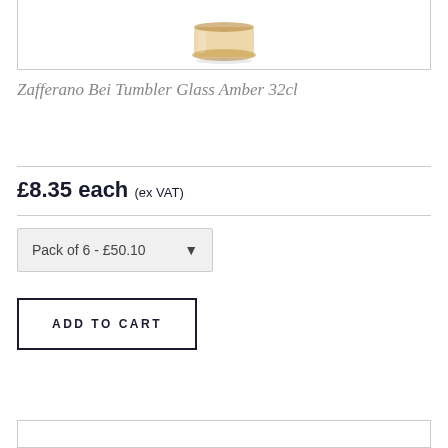[Figure (photo): Bottom portion of a Zafferano Bei Tumbler Glass Amber 32cl, showing the base of the glass with amber/brown tinted glass, partially cropped at top.]
Zafferano Bei Tumbler Glass Amber 32cl
£8.35 each (ex VAT)
Pack of 6 - £50.10
ADD TO CART